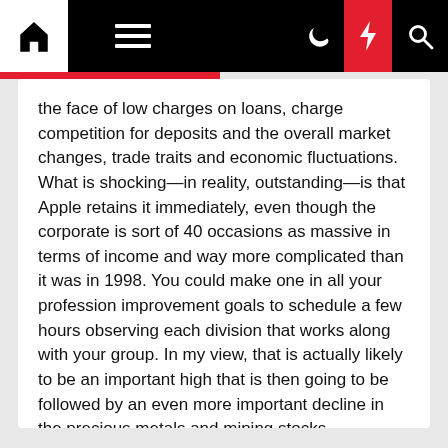Navigation bar with home, menu, moon, bolt, and search icons
the face of low charges on loans, charge competition for deposits and the overall market changes, trade traits and economic fluctuations.
What is shocking—in reality, outstanding—is that Apple retains it immediately, even though the corporate is sort of 40 occasions as massive in terms of income and way more complicated than it was in 1998. You could make one in all your profession improvement goals to schedule a few hours observing each division that works along with your group. In my view, that is actually likely to be an important high that is then going to be followed by an even more important decline in the precious metals and mining stocks.